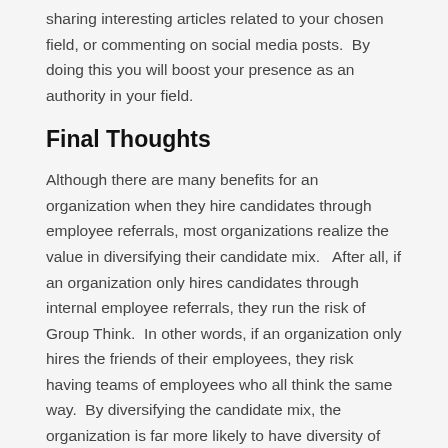sharing interesting articles related to your chosen field, or commenting on social media posts.  By doing this you will boost your presence as an authority in your field.
Final Thoughts
Although there are many benefits for an organization when they hire candidates through employee referrals, most organizations realize the value in diversifying their candidate mix.   After all, if an organization only hires candidates through internal employee referrals, they run the risk of Group Think.  In other words, if an organization only hires the friends of their employees, they risk having teams of employees who all think the same way.  By diversifying the candidate mix, the organization is far more likely to have diversity of thought among their teams.  This diversity of thought is a key competitive advantage in the ever-changing business world.  As a savvy job seeker, you too should diversify the sources you